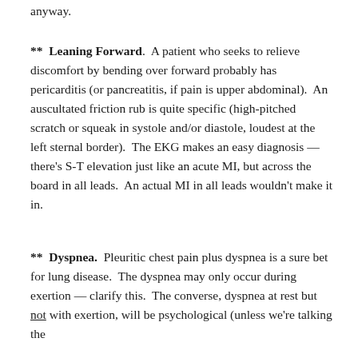anyway.
**  Leaning Forward.  A patient who seeks to relieve discomfort by bending over forward probably has pericarditis (or pancreatitis, if pain is upper abdominal).  An auscultated friction rub is quite specific (high-pitched scratch or squeak in systole and/or diastole, loudest at the left sternal border).  The EKG makes an easy diagnosis — there's S-T elevation just like an acute MI, but across the board in all leads.  An actual MI in all leads wouldn't make it in.
**  Dyspnea.  Pleuritic chest pain plus dyspnea is a sure bet for lung disease.  The dyspnea may only occur during exertion — clarify this.  The converse, dyspnea at rest but not with exertion, will be psychological (unless we're talking the ...